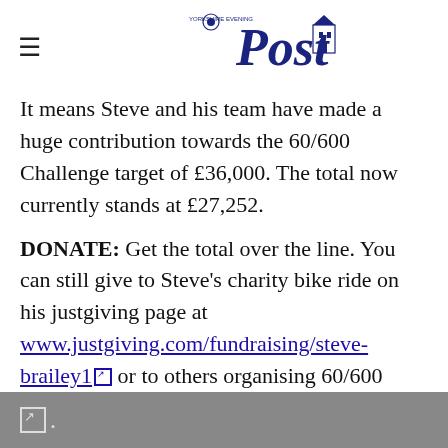Yorkshire Evening Post
It means Steve and his team have made a huge contribution towards the 60/600 Challenge target of £36,000. The total now currently stands at £27,252.
DONATE: Get the total over the line. You can still give to Steve's charity bike ride on his justgiving page at www.justgiving.com/fundraising/steve-brailey1 or to others organising 60/600 Challenge events at www.justgiving.com/companyteams/60600challe.